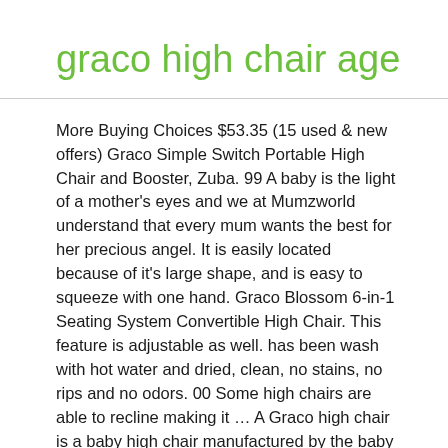graco high chair age
More Buying Choices $53.35 (15 used & new offers) Graco Simple Switch Portable High Chair and Booster, Zuba. 99 A baby is the light of a mother's eyes and we at Mumzworld understand that every mum wants the best for her precious angel. It is easily located because of it's large shape, and is easy to squeeze with one hand. Graco Blossom 6-in-1 Seating System Convertible High Chair. This feature is adjustable as well. has been wash with hot water and dried, clean, no stains, no rips and no odors. 00 Some high chairs are able to recline making it … A Graco high chair is a baby high chair manufactured by the baby product company, Graco. More options available. Many of their models can multitask by serving as car seats, infant seats and even baby rockers. GRACO high chair & chair booster Original value 260$ full-featured high chair that easily